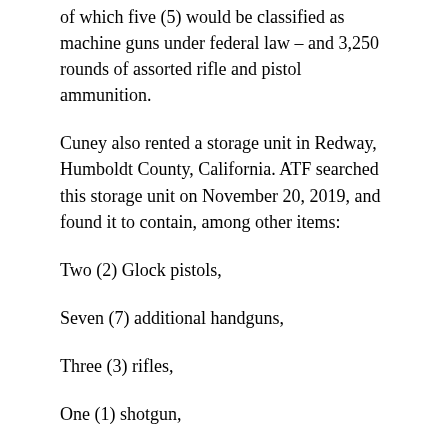of which five (5) would be classified as machine guns under federal law – and 3,250 rounds of assorted rifle and pistol ammunition.
Cuney also rented a storage unit in Redway, Humboldt County, California. ATF searched this storage unit on November 20, 2019, and found it to contain, among other items:
Two (2) Glock pistols,
Seven (7) additional handguns,
Three (3) rifles,
One (1) shotgun,
Five (5) machinegun conversion kits,